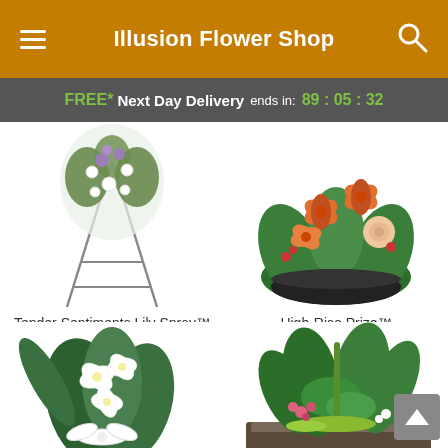Illusion Flower Shop
FREE* Next Day Delivery ends in: 89:05:32
[Figure (photo): Flower spray arrangement on a stand with white and purple flowers]
Tender Sentiments Lily Spray™
From $141.95
[Figure (photo): High-rise floral arrangement with orange lilies and peach roses in a black bowl]
High-Rise Prize™
From $78.00
[Figure (photo): White lily funeral spray arrangement with green foliage]
[Figure (photo): Green tropical plant garden arrangement with pink kalanchoe flowers]